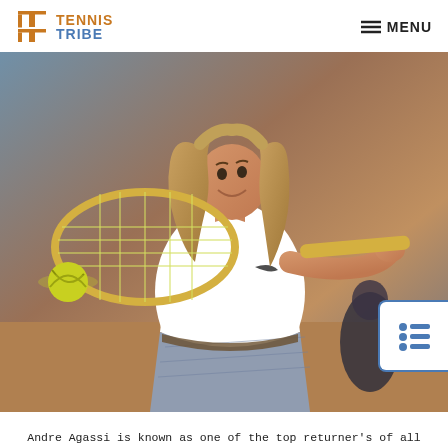TENNIS TRIBE | MENU
[Figure (photo): Young Andre Agassi with long hair hitting a forehand shot with a yellow tennis racket on a clay court, wearing a white Nike polo shirt and denim shorts, smiling mid-swing.]
Andre Agassi is known as one of the top returner's of all time.